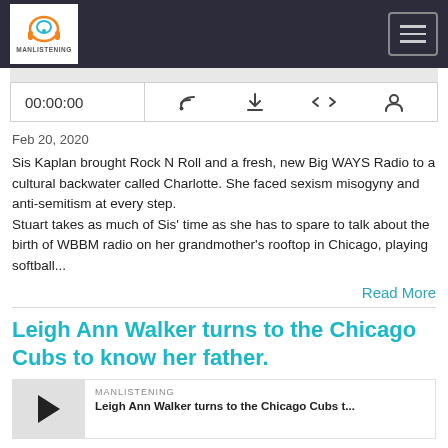MANLISTENING - navigation bar with logo and hamburger menu
[Figure (screenshot): Audio player controls showing time 00:00:00 and icons for RSS, download, embed, and user]
Feb 20, 2020
Sis Kaplan brought Rock N Roll and a fresh, new Big WAYS Radio to a cultural backwater called Charlotte. She faced sexism misogyny and anti-semitism at every step.
Stuart takes as much of Sis’ time as she has to spare to talk about the birth of WBBM radio on her grandmother’s rooftop in Chicago, playing softball...
Read More
Leigh Ann Walker turns to the Chicago Cubs to know her father.
[Figure (screenshot): Podcast card with play button, source label MANLISTENING, and title Leigh Ann Walker turns to the Chicago Cubs t...]